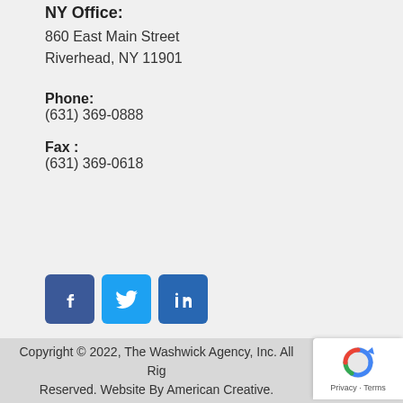NY Office:
860 East Main Street
Riverhead, NY 11901
Phone:
(631) 369-0888
Fax :
(631) 369-0618
[Figure (other): Social media icons: Facebook (blue square with 'f'), Twitter (light blue square with bird), LinkedIn (blue square with 'in')]
Copyright © 2022, The Washwick Agency, Inc. All Rights Reserved. Website By American Creative.